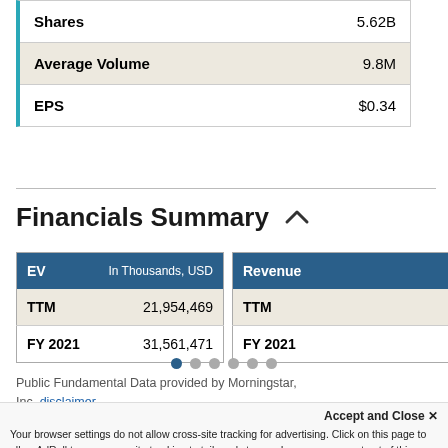|  |  |
| --- | --- |
| Shares | 5.62B |
| Average Volume | 9.8M |
| EPS | $0.34 |
Financials Summary
| EV | In Thousands, USD |
| --- | --- |
| TTM | 21,954,469 |
| FY 2021 | 31,561,471 |
| Revenue |  |
| --- | --- |
| TTM |  |
| FY 2021 |  |
Public Fundamental Data provided by Morningstar, Inc. disclaimer
Accept and Close ✕ Your browser settings do not allow cross-site tracking for advertising. Click on this page to allow AdRoll to use cross-site tracking to tailor ads to you. Learn more or opt out of this AdRoll tracking by clicking here. This message only appears once.